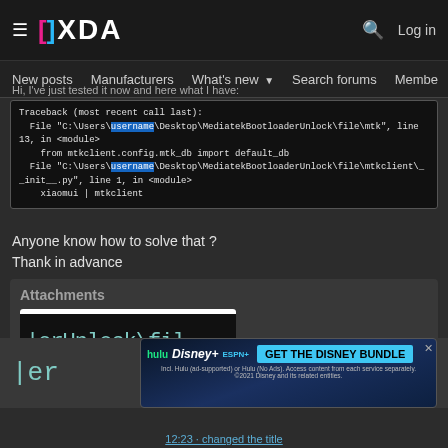XDA Developers — New posts | Manufacturers | What's new | Search forums | Members
Hi, I've just tested it now and here what I have:
[Figure (screenshot): Terminal/console error traceback showing: Traceback (most recent call last): File C:\Users\[user]\Desktop\MediatekBootloaderUnlock\file\mtk, line 13, in <module> from mtkclient.config.mtk_db import default_db File C:\Users\[user]\Desktop\MediatekBootloaderUnlock\file\mtkclient\__init__.py, line 1, in <module> xiaomui | mtkclient]
Anyone know how to solve that ?
Thank in advance
Attachments
[Figure (screenshot): Attachment preview showing terminal text: erUnlock\fil in teal monospace font on dark background]
[Figure (screenshot): Advertisement for Disney Bundle featuring Hulu, Disney+, ESPN+ logos with GET THE DISNEY BUNDLE CTA. Incl. Hulu (ad-supported) or Hulu (No Ads). Access content from each service separately. ©2021 Disney and its related entities.]
12:23 · changed the title